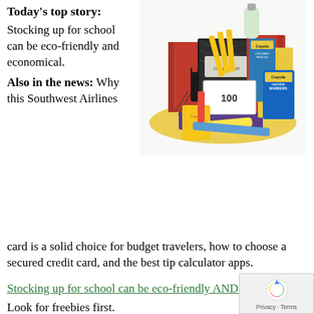Today's top story:
Stocking up for school can be eco-friendly and economical.
[Figure (photo): A pile of back-to-school supplies including Crayola markers, colored pencils, composition notebooks, folders, index cards, scissors, and other stationery items.]
Also in the news: Why this Southwest Airlines card is a solid choice for budget travelers, how to choose a secured credit card, and the best tip calculator apps.
Stocking up for school can be eco-friendly AND econom… Look for freebies first.